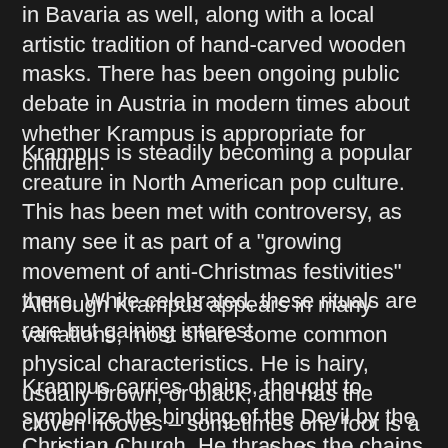in Bavaria as well, along with a local artistic tradition of hand-carved wooden masks. There has been ongoing public debate in Austria in modern times about whether Krampus is appropriate for children.
Krampus is steadily becoming a popular creature in North American pop culture. This has been met with controversy, as many see it as part of a "growing movement of anti-Christmas festivities" there. While celebrated, these rituals are rare but gaining interest.
Although Krampus appears in many variations, most share some common physical characteristics. He is hairy, usually brown, or black, and has the cloven hooves – sometimes one foot is a hoof and the other a regular foot. He also has the horns of a goat and a long-pointed tongue that lolls out.
Krampus carries chains, thought to symbolize the binding of the Devil by the Christian Church. He thrashes the chains for dramatic effect and is sometimes accompanied with bells of various sizes. Sometimes Krampus appears with a sack or a washtub strapped to his back. This is to cart off evil children